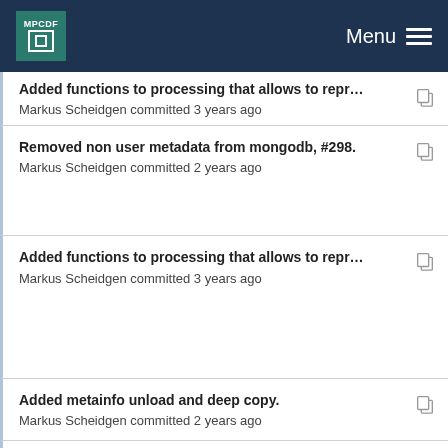MPCDF  Menu
Added functions to processing that allows to repr...
Markus Scheidgen committed 3 years ago
Removed non user metadata from mongodb, #298.
Markus Scheidgen committed 2 years ago
Added functions to processing that allows to repr...
Markus Scheidgen committed 3 years ago
Added metainfo unload and deep copy.
Markus Scheidgen committed 2 years ago
Added functions to processing that allows to repr...